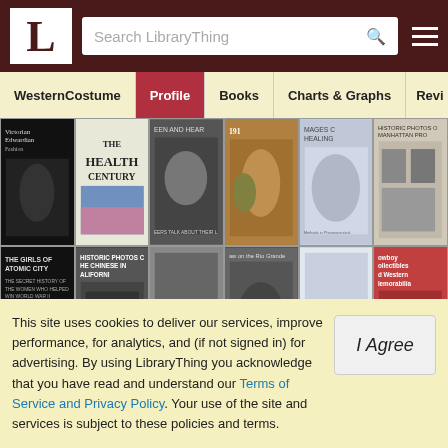LibraryThing - Search LibraryThing
[Figure (screenshot): LibraryThing website navigation with tabs: WesternCostume, Profile (active), Books, Charts & Graphs, Revi...]
[Figure (photo): Grid of book covers showing various books including The Health Century, Historic Photos of Chinese in California, Girls of Atomic City, and others related to western/historical topics]
This site uses cookies to deliver our services, improve performance, for analytics, and (if not signed in) for advertising. By using LibraryThing you acknowledge that you have read and understand our Terms of Service and Privacy Policy. Your use of the site and services is subject to these policies and terms.